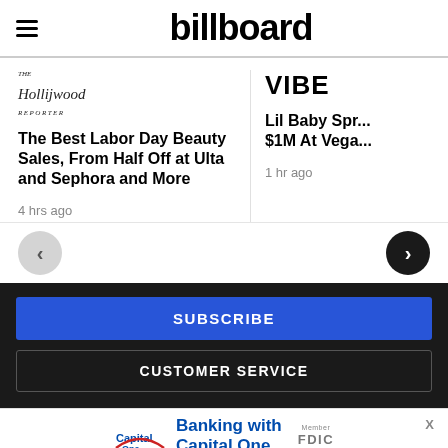billboard
[Figure (logo): The Hollywood Reporter logo in italic serif font]
The Best Labor Day Beauty Sales, From Half Off at Ulta and Sephora and More
4 hrs ago
[Figure (logo): VIBE logo in bold uppercase sans-serif]
Lil Baby Spr... $1M At Vega...
1 hr ago
SUBSCRIBE
CUSTOMER SERVICE
[Figure (logo): Capital One ad banner: Banking with Capital One, Member FDIC]